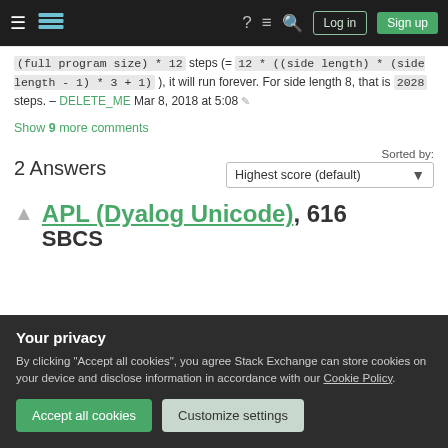Stack Exchange navigation bar with hamburger menu, logo, help, chat, search, Log in, Sign up
(full program size) * 12 steps (= 12 * ((side length) * (side length - 1) * 3 + 1) ), it will run forever. For side length 8, that is 2028 steps. – DELETE_ME Mar 8, 2018 at 5:08
Show 9 more comments
2 Answers
Sorted by: Highest score (default)
APL (Dyalog Unicode), 616 SBCS
Your privacy
By clicking "Accept all cookies", you agree Stack Exchange can store cookies on your device and disclose information in accordance with our Cookie Policy.
Accept all cookies   Customize settings